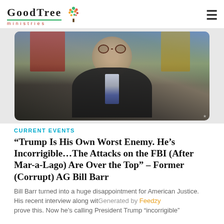GoodTree ministries
[Figure (photo): Photo of a man with glasses wearing a dark suit, American flags in the background]
CURRENT EVENTS
“Trump Is His Own Worst Enemy. He’s Incorrigible…The Attacks on the FBI (After Mar-a-Lago) Are Over the Top” – Former (Corrupt) AG Bill Barr
Bill Barr turned into a huge disappointment for American Justice.  His recent interview along with… Generated by Feedzy prove this. Now he’s calling President Trump “incorrigible”